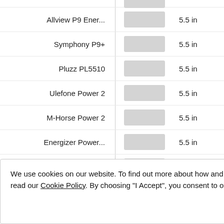Allview P9 Ener... — 5.5 in
Symphony P9+ — 5.5 in
Pluzz PL5510 — 5.5 in
Ulefone Power 2 — 5.5 in
M-Horse Power 2 — 5.5 in
Energizer Power... — 5.5 in
Haier Power P10 — 5.5 in
We use cookies on our website. To find out more about how and why they are used or to opt-out, please read our Cookie Policy. By choosing "I Accept", you consent to our use of cookies.